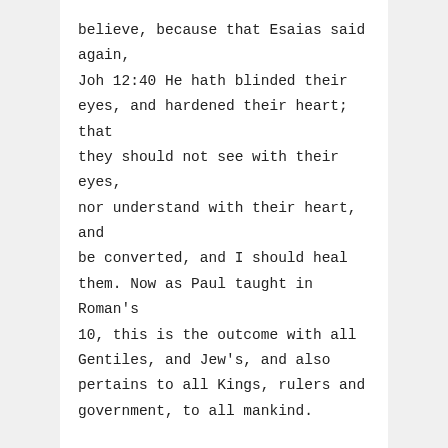believe, because that Esaias said again,
Joh 12:40 He hath blinded their eyes, and hardened their heart; that they should not see with their eyes, nor understand with their heart, and be converted, and I should heal them. Now as Paul taught in Roman's 10, this is the outcome with all Gentiles, and Jew's, and also pertains to all Kings, rulers and government, to all mankind.
Regarding your statement that ALL